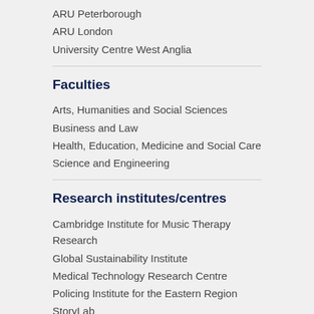ARU Peterborough
ARU London
University Centre West Anglia
Faculties
Arts, Humanities and Social Sciences
Business and Law
Health, Education, Medicine and Social Care
Science and Engineering
Research institutes/centres
Cambridge Institute for Music Therapy Research
Global Sustainability Institute
Medical Technology Research Centre
Policing Institute for the Eastern Region
StoryLab